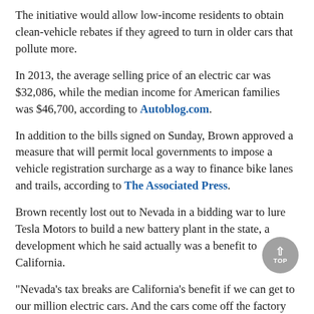The initiative would allow low-income residents to obtain clean-vehicle rebates if they agreed to turn in older cars that pollute more.
In 2013, the average selling price of an electric car was $32,086, while the median income for American families was $46,700, according to Autoblog.com.
In addition to the bills signed on Sunday, Brown approved a measure that will permit local governments to impose a vehicle registration surcharge as a way to finance bike lanes and trails, according to The Associated Press.
Brown recently lost out to Nevada in a bidding war to lure Tesla Motors to build a new battery plant in the state, a development which he said actually was a benefit to California.
"Nevada's tax breaks are California's benefit if we can get to our million electric cars. And the cars come off the factory line right there in Fremont, and they'll keep coming as long as that Nevada plant actually gets built and they can put out batteries significantly cheaper than they do today," Brown said, according to The Fresno Bee.
His failure to land the contract is an issue which has been seized